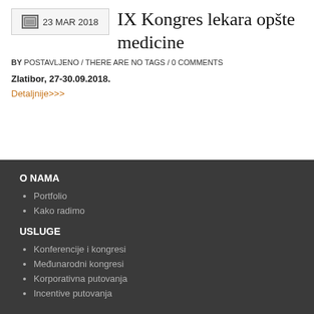[Figure (other): Calendar/image icon placeholder]
23 MAR 2018
IX Kongres lekara opšte medicine
BY POSTAVLJENO / THERE ARE NO TAGS / 0 COMMENTS
Zlatibor, 27-30.09.2018.
Detaljnije>>>
O NAMA
Portfolio
Kako radimo
USLUGE
Konferencije i kongresi
Međunarodni kongresi
Korporativna putovanja
Incentive putovanja